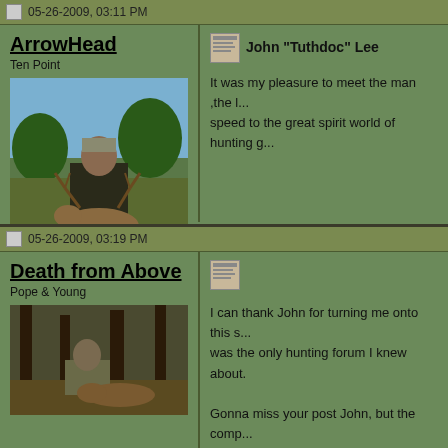05-26-2009, 03:11 PM
ArrowHead
Ten Point
[Figure (photo): Man in camouflage kneeling behind a harvested deer with antlers, outdoors with trees]
Join Date: Oct 2006
Location: Fort Worth,Tx.
Hunt In: The Couch
John "Tuthdoc" Lee
It was my pleasure to meet the man ,the l... speed to the great spirit world of hunting g...
05-26-2009, 03:19 PM
Death from Above
Pope & Young
[Figure (photo): Person kneeling beside a deer in a forest setting]
I can thank John for turning me onto this s... was the only hunting forum I knew about.
Gonna miss your post John, but the comp...